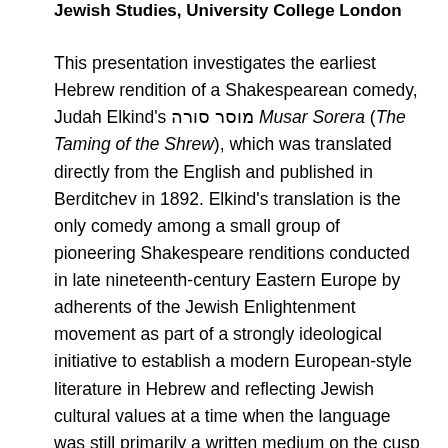Jewish Studies, University College London
This presentation investigates the earliest Hebrew rendition of a Shakespearean comedy, Judah Elkind's מוסר סורה Musar Sorera (The Taming of the Shrew), which was translated directly from the English and published in Berditchev in 1892. Elkind's translation is the only comedy among a small group of pioneering Shakespeare renditions conducted in late nineteenth-century Eastern Europe by adherents of the Jewish Enlightenment movement as part of a strongly ideological initiative to establish a modern European-style literature in Hebrew and reflecting Jewish cultural values at a time when the language was still primarily a written medium on the cusp of its large-scale revernacularization in Palestine. The presentation examines the ways in which Elkind's employment of a